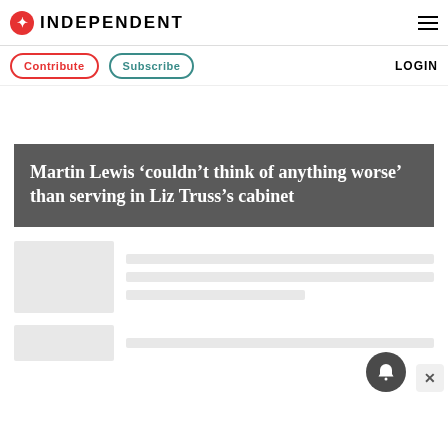INDEPENDENT
Contribute  Subscribe  LOGIN
Martin Lewis ‘couldn’t think of anything worse’ than serving in Liz Truss’s cabinet
[Figure (other): Thumbnail placeholder image and text skeleton lines for article preview]